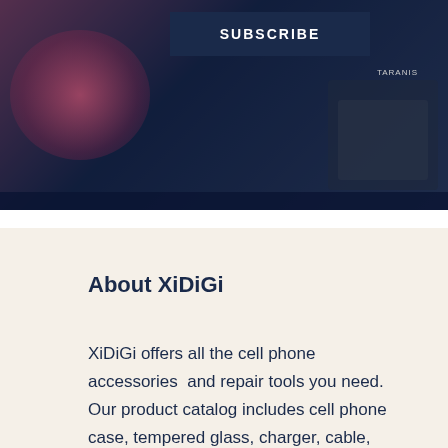[Figure (photo): Dark blue/navy hero banner image with a SUBSCRIBE button overlay and a blurred background showing electronic/RC equipment. A 'TARANIS' label is visible on equipment in the right corner.]
About XiDiGi
XiDiGi offers all the cell phone accessories  and repair tools you need. Our product catalog includes cell phone case, tempered glass, charger, cable, repair tools and much more. We have everything you need to maximize the